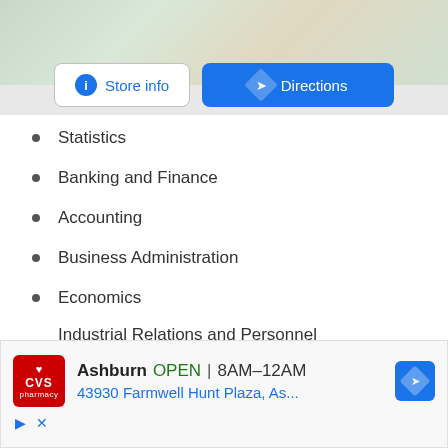[Figure (screenshot): Google Maps snippet showing store info and directions buttons]
Statistics
Banking and Finance
Accounting
Business Administration
Economics
Industrial Relations and Personnel Management
Political Science
International Relations
Insurance
Sociology
[Figure (screenshot): CVS Pharmacy advertisement: Ashburn OPEN 8AM-12AM, 43930 Farmwell Hunt Plaza, As...]